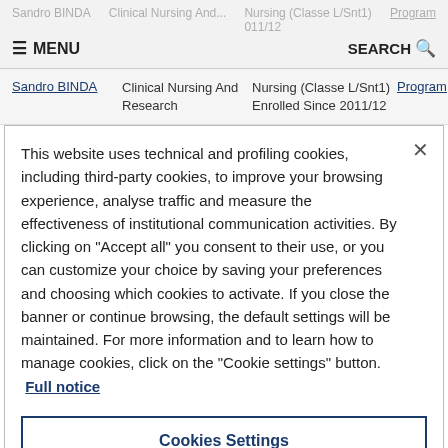≡ MENU   SEARCH 🔍   Sandro BINDA   Clinical Nursing And...   Nursing (Classe L/Snt1)  011/12   Program
Sandro BINDA   Clinical Nursing And Research   Nursing (Classe L/Snt1) Enrolled Since 2011/12   Program
This website uses technical and profiling cookies, including third-party cookies, to improve your browsing experience, analyse traffic and measure the effectiveness of institutional communication activities. By clicking on "Accept all" you consent to their use, or you can customize your choice by saving your preferences and choosing which cookies to activate. If you close the banner or continue browsing, the default settings will be maintained. For more information and to learn how to manage cookies, click on the "Cookie settings" button. Full notice
Cookies Settings
Reject All